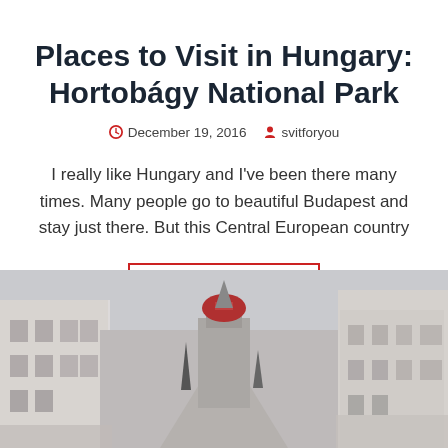Places to Visit in Hungary: Hortobágy National Park
December 19, 2016   svitforyou
I really like Hungary and I've been there many times. Many people go to beautiful Budapest and stay just there. But this Central European country
READ MORE
[Figure (photo): Street-level photograph of a historic European town with old buildings on either side and a church tower with a red dome visible in the background under a grey sky.]